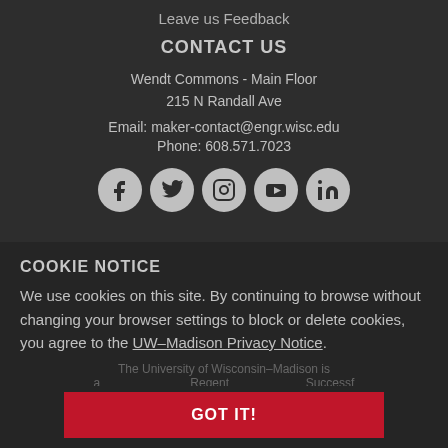Leave us Feedback
CONTACT US
Wendt Commons - Main Floor
215 N Randall Ave
Email: maker-contact@engr.wisc.edu
Phone: 608.571.7023
[Figure (illustration): Row of five circular social media icons: Facebook, Twitter, Instagram, YouTube, LinkedIn]
COOKIE NOTICE
We use cookies on this site. By continuing to browse without changing your browser settings to block or delete cookies, you agree to the UW–Madison Privacy Notice.
GOT IT!